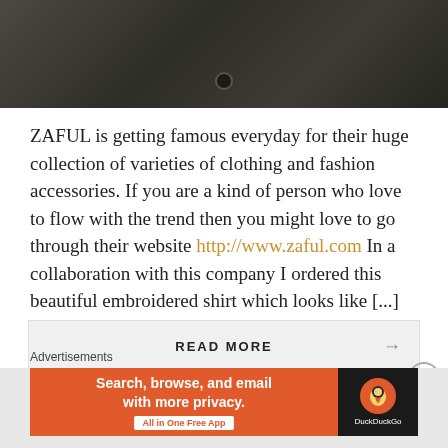[Figure (photo): Dark clothing/fabric photo strip at top of page, showing what appears to be embroidered or textured fabric in dark olive/grey tones]
ZAFUL is getting famous everyday for their huge collection of varieties of clothing and fashion accessories. If you are a kind of person who love to flow with the trend then you might love to go through their website http://www.zaful.com In a collaboration with this company I ordered this beautiful embroidered shirt which looks like [...]
READ MORE →
Advertisements
[Figure (screenshot): DuckDuckGo advertisement banner: orange left panel with text 'Search, browse, and email with more privacy. All in One Free App' and dark right panel with DuckDuckGo duck logo and brand name]